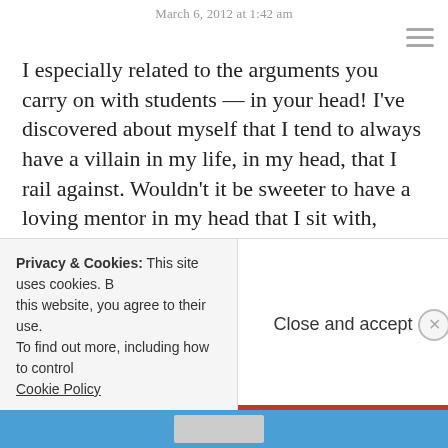March 6, 2012 at 1:42 am
I especially related to the arguments you carry on with students — in your head! I've discovered about myself that I tend to always have a villain in my life, in my head, that I rail against. Wouldn't it be sweeter to have a loving mentor in my head that I sit with, confess to, get quiet with? Oh, no! Not for me... Except, truly, that's what I want. To cultivate a softness inside. I want to learn to breathe more, listen more, react less. Thank you for reminding me that I want to meditate. This has been my plan for I don't know how long, and yet I keep forgetting everyday.
Privacy & Cookies: This site uses cookies. By continuing to use this website, you agree to their use. To find out more, including how to control cookies, see here: Cookie Policy
Close and accept